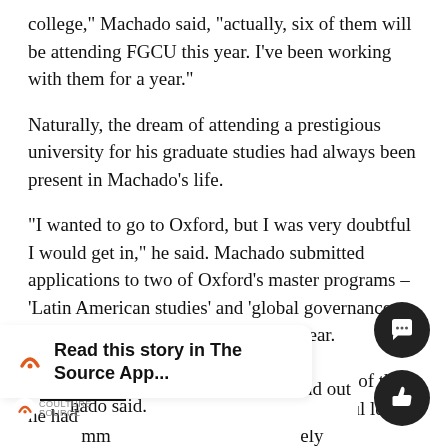college," Machado said, "actually, six of them will be attending FGCU this year. I've been working with them for a year."
Naturally, the dream of attending a prestigious university for his graduate studies had always been present in Machado's life.
"I wanted to go to Oxford, but I was very doubtful I would get in," he said. Machado submitted applications to two of Oxford's master programs – 'Latin American studies' and 'global governance and diplomacy' – in January of this year.
"Dr. Nicola Foote [Former interim director of the Honors Program at FGCU] wrote wonderful letters of recommendation and was extremely supportive," Machado said.
Three months later in March, he found out he had